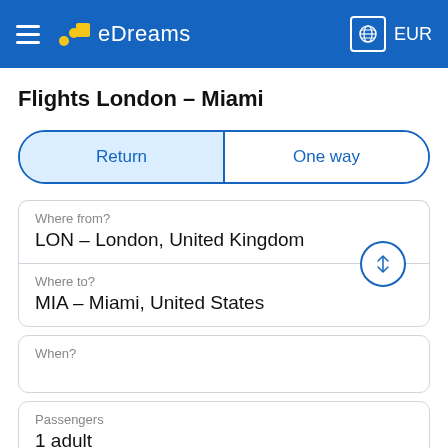eDreams — EUR
Flights London – Miami
Return | One way
Where from?
LON – London, United Kingdom
Where to?
MIA – Miami, United States
When?
Passengers
1 adult